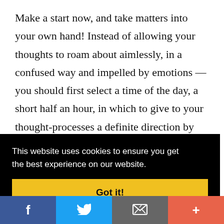Make a start now, and take matters into your own hand! Instead of allowing your thoughts to roam about aimlessly, in a confused way and impelled by emotions — you should first select a time of the day, a short half an hour, in which to give to your thought-processes a definite direction by choosing a suitable subject of meditation. By
This website uses cookies to ensure you get the best experience on our website.
Got it!
[Figure (infographic): Social sharing bar with four buttons: Facebook (blue), Twitter (light blue), Email/envelope (gray), and Add/Plus (red-orange)]